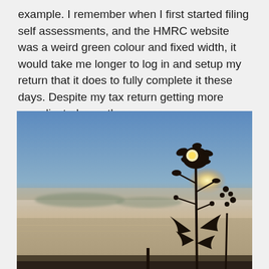example. I remember when I first started filing self assessments, and the HMRC website was a weird green colour and fixed width, it would take me longer to log in and setup my return that it does to fully complete it these days. Despite my tax return getting more complicated over the years.
[Figure (photo): Outdoor photograph of a coastal sunset scene. A silhouetted plant or flower is in the foreground on the right side, with the sun visible behind it. The background shows a calm sea with low-lying mist or fog, distant hills or islands, and a sky transitioning from blue at the top to warm orange/yellow near the horizon.]